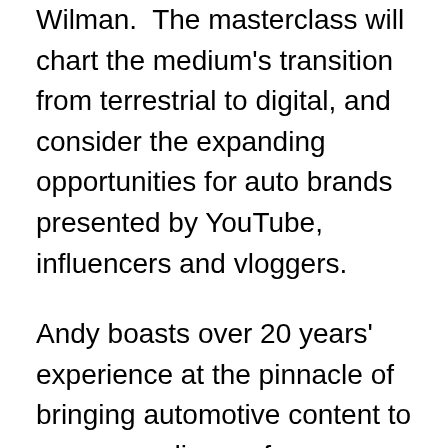Wilman.  The masterclass will chart the medium's transition from terrestrial to digital, and consider the expanding opportunities for auto brands presented by YouTube, influencers and vloggers.
Andy boasts over 20 years' experience at the pinnacle of bringing automotive content to a mass audience, from re-launching Top Gear on BBC TV in 2002 before executive producing The Grand Tour for Amazon Prime online.
Other masterclass presenters:   Mat Watson – the face of the Carwow YouTube channel,